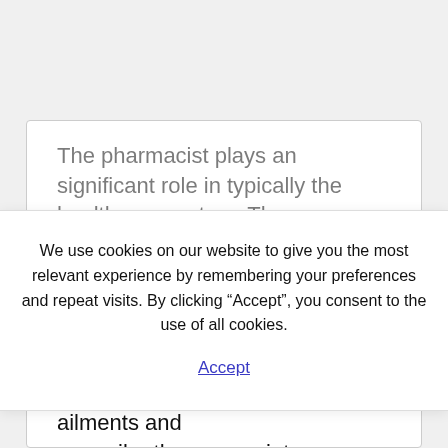The pharmacist plays an significant role in typically the healthcare system. The
We use cookies on our website to give you the most relevant experience by remembering your preferences and repeat visits. By clicking “Accept”, you consent to the use of all cookies.
Accept
are trained in order to perform simple health care procedures. For example of this, they can diagnose common ailments and prescribe the appropriate treatment. If needed, pharmacists could also